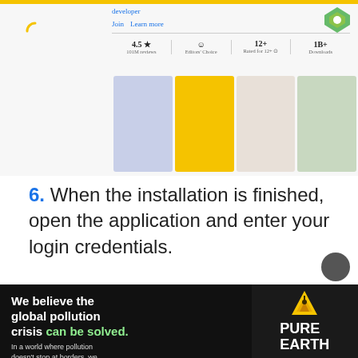[Figure (screenshot): App store listing screenshot showing app with 4.5 star rating, 101M reviews, Editors Choice badge, Rated for 12+, and Downloads stat, with app preview thumbnails below]
6. When the installation is finished, open the application and enter your login credentials.
Try editing your profile now and see if the Instagram There was a problem saving your profile issue is resolved.
[Figure (screenshot): Advertisement banner: We believe the global pollution crisis can be solved. In a world where pollution doesn't stop at borders, we can all be part of the solution. JOIN US. PURE EARTH logo.]